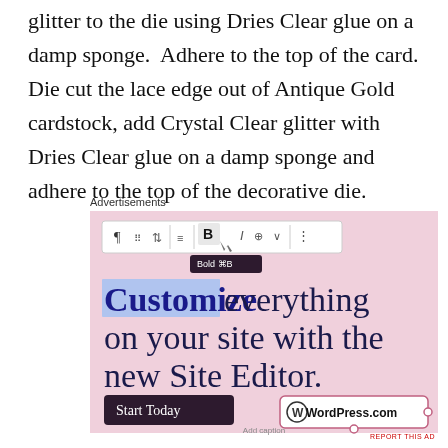glitter to the die using Dries Clear glue on a damp sponge.  Adhere to the top of the card.  Die cut the lace edge out of Antique Gold cardstock, add Crystal Clear glitter with Dries Clear glue on a damp sponge and adhere to the top of the decorative die.
Advertisements
[Figure (screenshot): WordPress.com advertisement screenshot showing a toolbar with Bold highlighted, headline 'Customize everything on your site with the new Site Editor.', a 'Start Today' button, and WordPress.com badge with Add caption text below.]